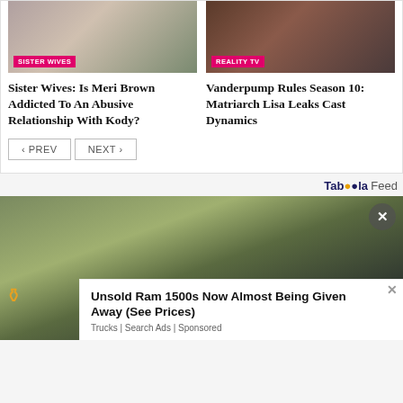[Figure (photo): Photo of woman in striped pink black white sweater outdoors with Sister Wives badge]
[Figure (photo): Photo of woman with brown hair smiling with Reality TV badge]
Sister Wives: Is Meri Brown Addicted To An Abusive Relationship With Kody?
Vanderpump Rules Season 10: Matriarch Lisa Leaks Cast Dynamics
‹ PREV   NEXT ›
Taboola Feed
[Figure (photo): Photo of green RAM 1500 truck parked in driveway of house]
Unsold Ram 1500s Now Almost Being Given Away (See Prices)
Trucks | Search Ads | Sponsored